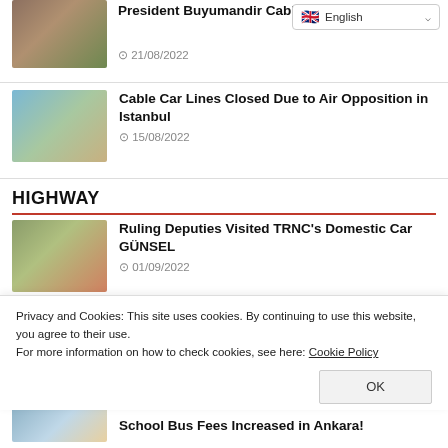[Figure (screenshot): Language selector dropdown showing English with flag]
[Figure (photo): Outdoor photo related to cable car construction, people standing on hillside]
President Buyumandir Cable Car Construction
21/08/2022
[Figure (photo): Cable car gondola in the air with city view behind]
Cable Car Lines Closed Due to Air Opposition in Istanbul
15/08/2022
HIGHWAY
[Figure (photo): Building with people standing in front, car visible]
Ruling Deputies Visited TRNC's Domestic Car GÜNSEL
01/09/2022
Privacy and Cookies: This site uses cookies. By continuing to use this website, you agree to their use.
For more information on how to check cookies, see here: Cookie Policy
[Figure (photo): Partial view of school bus news article thumbnail]
School Bus Fees Increased in Ankara!